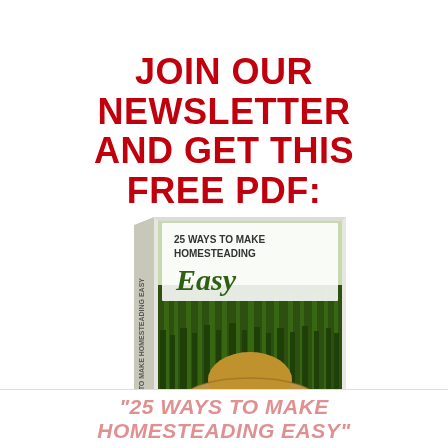JOIN OUR NEWSLETTER AND GET THIS FREE PDF:
[Figure (illustration): 3D book mockup with cover showing '25 WAYS TO MAKE HOMESTEADING EASY' title with a straw hat in tall green grass on the cover. The book is shown at an angle with a white/light spine.]
"25 WAYS TO MAKE HOMESTEADING EASY"